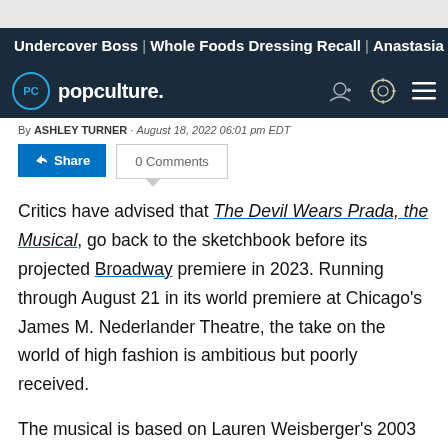Undercover Boss | Whole Foods Dressing Recall | Anastasia
popculture.
By ASHLEY TURNER · August 18, 2022 06:01 pm EDT
Share  0 Comments
Critics have advised that The Devil Wears Prada, the Musical, go back to the sketchbook before its projected Broadway premiere in 2023. Running through August 21 in its world premiere at Chicago's James M. Nederlander Theatre, the take on the world of high fashion is ambitious but poorly received.
The musical is based on Lauren Weisberger's 2003 novel about working at a major fashion magazine, written after